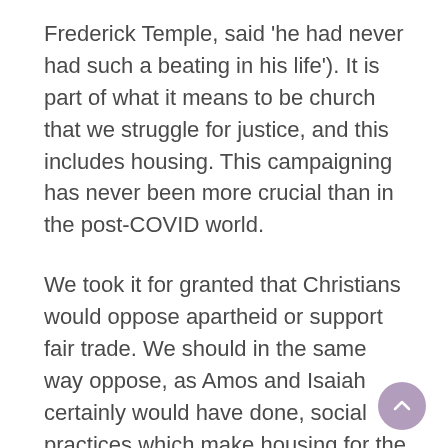Frederick Temple, said 'he had never had such a beating in his life'). It is part of what it means to be church that we struggle for justice, and this includes housing. This campaigning has never been more crucial than in the post-COVID world.
We took it for granted that Christians would oppose apartheid or support fair trade. We should in the same way oppose, as Amos and Isaiah certainly would have done, social practices which make housing for the poor a nightmare and a burden, instead of something which ought to be part of human fulfilment, an expression of the Spirit inspired search for beauty and rest.